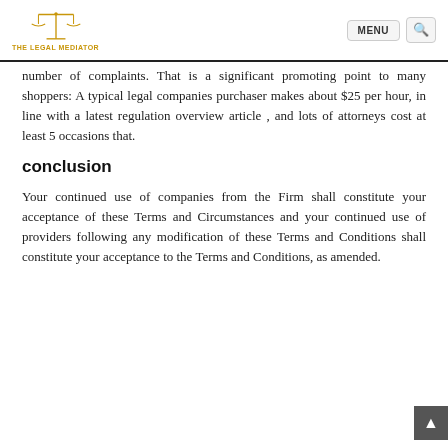THE LEGAL MEDIATOR — MENU
number of complaints. That is a significant promoting point to many shoppers: A typical legal companies purchaser makes about $25 per hour, in line with a latest regulation overview article , and lots of attorneys cost at least 5 occasions that.
conclusion
Your continued use of companies from the Firm shall constitute your acceptance of these Terms and Circumstances and your continued use of providers following any modification of these Terms and Conditions shall constitute your acceptance to the Terms and Conditions, as amended.